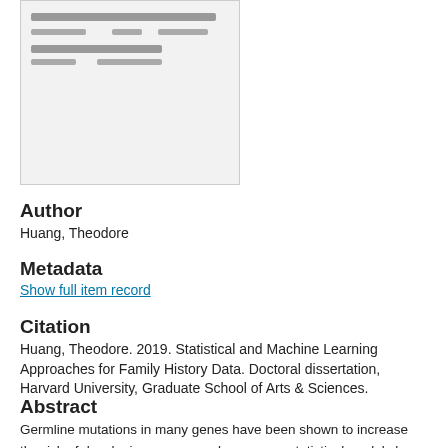[Figure (screenshot): Thumbnail preview of a document page showing blurred/greyed out text lines on a light grey background, bordered with a thin grey border.]
Author
Huang, Theodore
Metadata
Show full item record
Citation
Huang, Theodore. 2019. Statistical and Machine Learning Approaches for Family History Data. Doctoral dissertation, Harvard University, Graduate School of Arts & Sciences.
Abstract
Germline mutations in many genes have been shown to increase the risk of developing cancer, and numerous statistical models have been developed to predict genetic susceptibility to cancer. Mendelian models predict risk by using family histories with estimated cancer penetrances (age- and sex-specific risk of cancer given the genotype